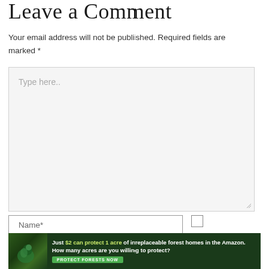Leave a Comment
Your email address will not be published. Required fields are marked *
[Figure (screenshot): Large textarea input field with light gray background and placeholder text 'Type here..' with a resize handle at bottom right]
[Figure (screenshot): Name* text input field and a checkbox to the right, with 'Save' text below the checkbox]
[Figure (infographic): Advertisement banner with dark forest background showing a bird, with text: 'Just $2 can protect 1 acre of irreplaceable forest homes in the Amazon. How many acres are you willing to protect?' and a green 'PROTECT FORESTS NOW' button]